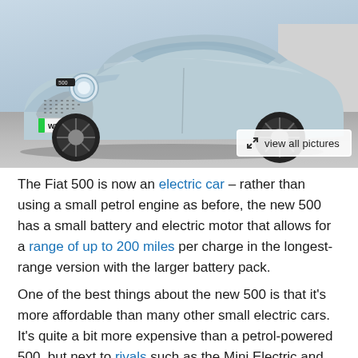[Figure (photo): A light blue Fiat 500 electric car parked in a car park or road, photographed from a front-three-quarter angle. The car has the licence plate WP21 RMD visible. In the lower right corner of the image is a white overlay button/box reading 'view all pictures' with a diagonal expand icon.]
The Fiat 500 is now an electric car – rather than using a small petrol engine as before, the new 500 has a small battery and electric motor that allows for a range of up to 200 miles per charge in the longest-range version with the larger battery pack.
One of the best things about the new 500 is that it's more affordable than many other small electric cars. It's quite a bit more expensive than a petrol-powered 500, but next to rivals such as the Mini Electric and Honda e, the Fiat is more affordable...